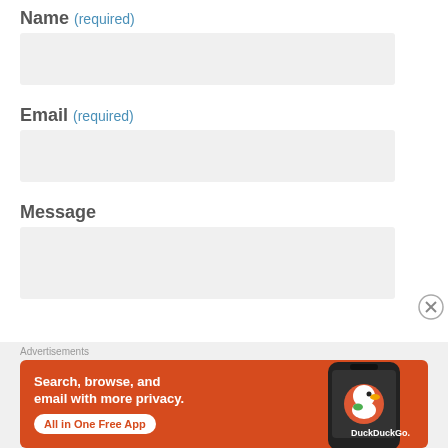Name (required)
[Figure (other): Empty text input field for Name]
Email (required)
[Figure (other): Empty text input field for Email]
Message
[Figure (other): Empty textarea input field for Message]
Advertisements
[Figure (illustration): DuckDuckGo advertisement banner: orange background, text 'Search, browse, and email with more privacy. All in One Free App' with phone graphic and DuckDuckGo logo]